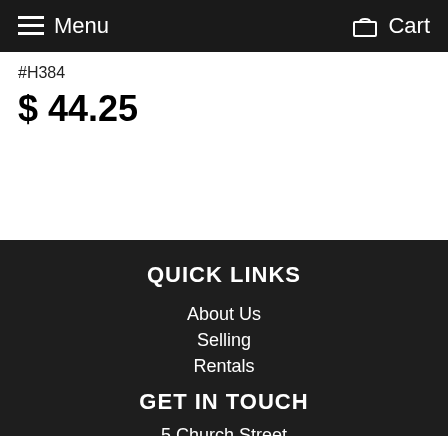Menu   Cart
#H384
$ 44.25
QUICK LINKS
About Us
Selling
Rentals
GET IN TOUCH
5 Church Street